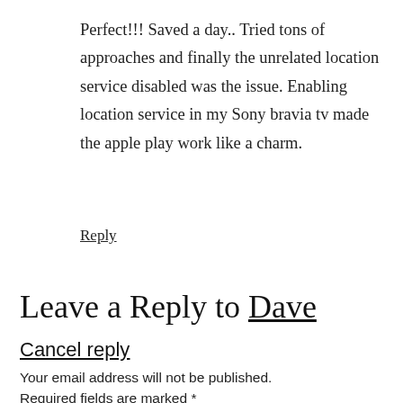Perfect!!! Saved a day.. Tried tons of approaches and finally the unrelated location service disabled was the issue. Enabling location service in my Sony bravia tv made the apple play work like a charm.
Reply
Leave a Reply to Dave Cancel reply
Your email address will not be published. Required fields are marked *